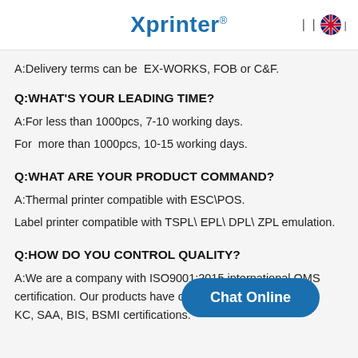Xprinter
A:Delivery terms can be  EX-WORKS, FOB or C&F.
Q:WHAT'S YOUR LEADING TIME?
A:For less than 1000pcs, 7-10 working days.
For  more than 1000pcs, 10-15 working days.
Q:WHAT ARE YOUR PRODUCT COMMAND?
A:Thermal printer compatible with ESC\POS.
Label printer compatible with TSPL\ EPL\ DPL\ ZPL emulation.
Q:HOW DO YOU CONTROL QUALITY?
A:We are a company with ISO9001:2015 international QMS certification. Our products have obtained CE, FCC, RoHS, KC, SAA, BIS, BSMI certifications.